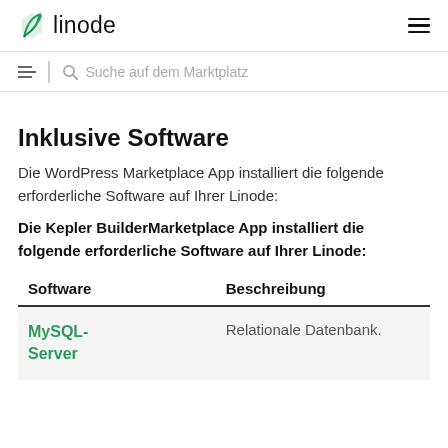linode
Suche auf dem Marktplatz
Inklusive Software
Die WordPress Marketplace App installiert die folgende erforderliche Software auf Ihrer Linode:
Die Kepler BuilderMarketplace App installiert die folgende erforderliche Software auf Ihrer Linode:
| Software | Beschreibung |
| --- | --- |
| MySQL-Server | Relationale Datenbank. |